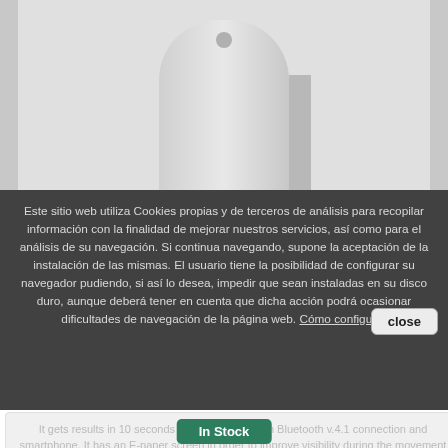[Figure (photo): Product image of a medical/sports analyzer device with rounded top casing, shown against a grey background with side borders]
Este sitio web utiliza Cookies propias y de terceros de análisis para recopilar información con la finalidad de mejorar nuestros servicios, así como para el análisis de su navegación. Si continua navegando, supone la aceptación de la instalación de las mismas. El usuario tiene la posibilidad de configurar su navegador pudiendo, si así lo desea, impedir que sean instaladas en su disco duro, aunque deberá tener en cuenta que dicha acción podrá ocasionar dificultades de navegación de la página web. Cómo configurar
close
It gets results in 10 seconds It is compatible with Bluetooth v.4.1 connection and smartphone. It has an E-paper screen in order to improve visibility during the movement or low luminosity conditions. Composed of: Lactate Scout 4 analyser with Bluetooth Mantel USB with digital manual 2 batteries CR2450 It just needs 0.2 microliters to obtain de result.
In Stock